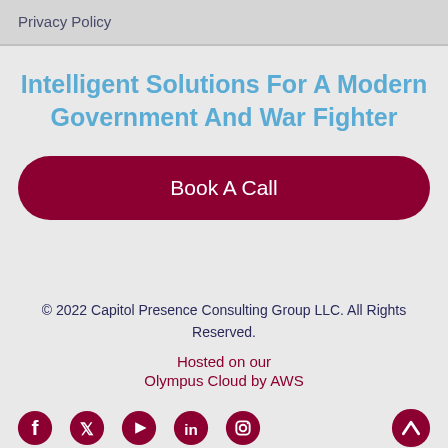Privacy Policy
Intelligent Solutions For A Modern Government And War Fighter
Book A Call
© 2022 Capitol Presence Consulting Group LLC. All Rights Reserved.
Hosted on our
Olympus Cloud by AWS